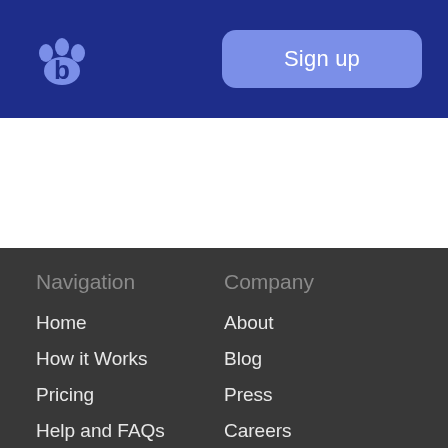Sign up
Navigation
Company
Home
About
How it Works
Blog
Pricing
Press
Help and FAQs
Careers